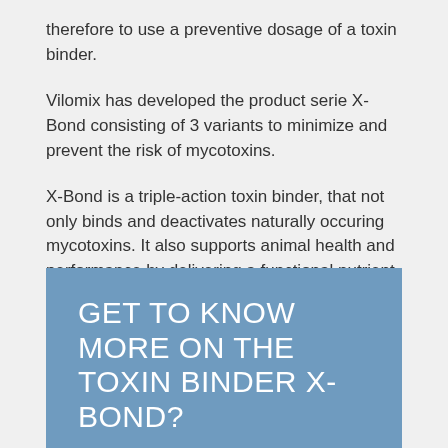therefore to use a preventive dosage of a toxin binder.
Vilomix has developed the product serie X-Bond consisting of 3 variants to minimize and prevent the risk of mycotoxins.
X-Bond is a triple-action toxin binder, that not only binds and deactivates naturally occuring mycotoxins. It also supports animal health and performance by delivering a functional nutrient complex.
GET TO KNOW MORE ON THE TOXIN BINDER X-BOND?
The toxin binder series called X-Bond minimises and prevents the risk of